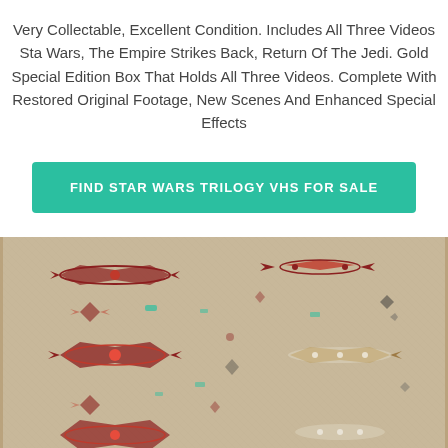Very Collectable, Excellent Condition. Includes All Three Videos Star Wars, The Empire Strikes Back, Return Of The Jedi. Gold Special Edition Box That Holds All Three Videos. Complete With Restored Original Footage, New Scenes And Enhanced Special Effects
FIND STAR WARS TRILOGY VHS FOR SALE
[Figure (photo): Photo of a vintage/antique decorative rug with floral and geometric patterns on a tan/beige background with red, teal, and dark accents]